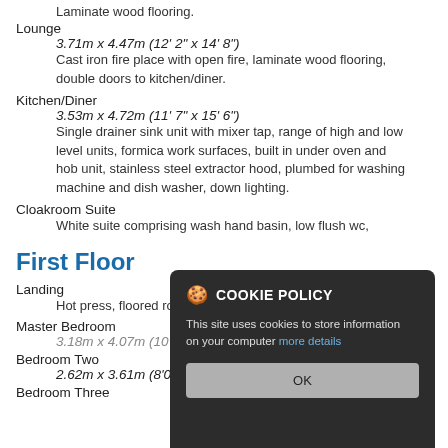Laminate wood flooring.
Lounge
3.71m x 4.47m (12' 2" x 14' 8")
Cast iron fire place with open fire, laminate wood flooring, double doors to kitchen/diner.
Kitchen/Diner
3.53m x 4.72m (11' 7" x 15' 6")
Single drainer sink unit with mixer tap, range of high and low level units, formica work surfaces, built in under oven and hob unit, stainless steel extractor hood, plumbed for washing machine and dish washer, down lighting.
Cloakroom Suite
White suite comprising wash hand basin, low flush wc,
First Floor
Landing
Hot press, floored roof space.
Master Bedroom
3.18m x 4.07m (10'05" x 13'4")
Bedroom Two
2.62m x 3.61m (8'07" x 11'10")
Bedroom Three
[Figure (other): Cookie policy popup overlay with dark background, cookie emoji, bold title 'COOKIE POLICY', body text 'This site uses cookies to store information on your computer', a blue link, and an OK button.]